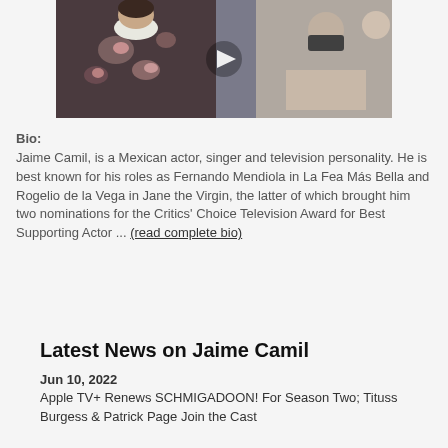[Figure (photo): Video thumbnail showing a woman in a dark floral dress with white collar sitting at a table, with other people in the background, and a play button overlay]
Bio:
Jaime Camil, is a Mexican actor, singer and television personality. He is best known for his roles as Fernando Mendiola in La Fea Más Bella and Rogelio de la Vega in Jane the Virgin, the latter of which brought him two nominations for the Critics' Choice Television Award for Best Supporting Actor ... (read complete bio)
Latest News on Jaime Camil
Jun 10, 2022
Apple TV+ Renews SCHMIGADOON! For Season Two; Tituss Burgess & Patrick Page Join the Cast